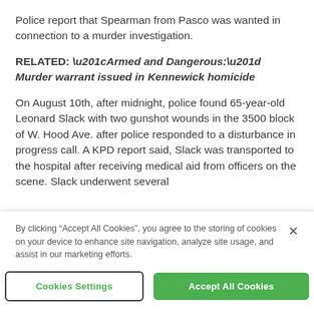Police report that Spearman from Pasco was wanted in connection to a murder investigation.
RELATED: “Armed and Dangerous:” Murder warrant issued in Kennewick homicide
On August 10th, after midnight, police found 65-year-old Leonard Slack with two gunshot wounds in the 3500 block of W. Hood Ave. after police responded to a disturbance in progress call. A KPD report said, Slack was transported to the hospital after receiving medical aid from officers on the scene. Slack underwent several
By clicking “Accept All Cookies”, you agree to the storing of cookies on your device to enhance site navigation, analyze site usage, and assist in our marketing efforts.
Cookies Settings
Accept All Cookies